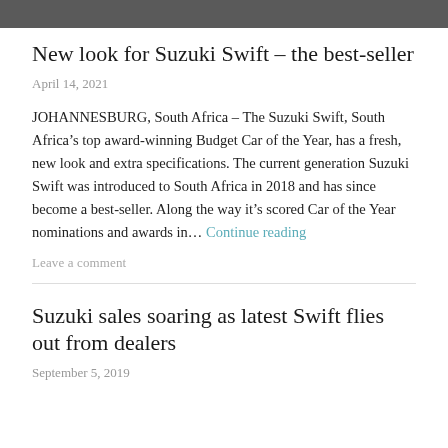[Figure (photo): Top portion of a car photo, cropped — dark background]
New look for Suzuki Swift – the best-seller
April 14, 2021
JOHANNESBURG, South Africa – The Suzuki Swift, South Africa's top award-winning Budget Car of the Year, has a fresh, new look and extra specifications. The current generation Suzuki Swift was introduced to South Africa in 2018 and has since become a best-seller. Along the way it's scored Car of the Year nominations and awards in… Continue reading
Leave a comment
Suzuki sales soaring as latest Swift flies out from dealers
September 5, 2019